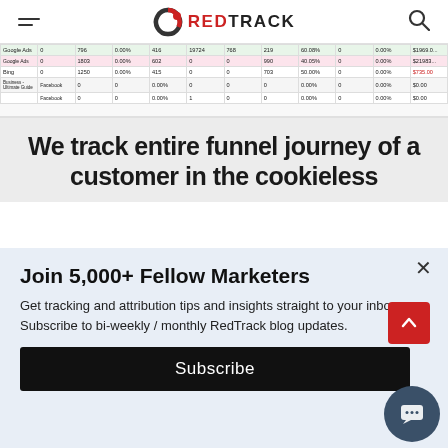RedTrack navigation header with menu, logo, and search icon
| Google Ads | 0 | 796 | 0.00% | 416 | 19724 | 768 | 219 | 60.08% | 0 | 0.00% | $1,969.0... |  |
| Google Ads | 0 | 1803 | 0.00% | 602 | 0 | 0 | 990 | 40.05% | 0 | 0.00% | $21983... |  |
| Bing | 0 | 1250 | 0.00% | 415 | 0 | 0 | 703 | 50.00% | 0 | 0.00% | $735.00 | $13 |
| Business - Ultimate Guide | Facebook | 0 | 0 | 0.00% | 0 | 0 | 0 | 0 | 0.00% | 0 | 0.00% | $0.00 |
|  | Facebook | 0 | 0 | 0.00% | 1 | 0 | 0 | 0.00% | 0 | 0.00% | $0.00 |
We track entire funnel journey of a customer in the cookieless
Join 5,000+ Fellow Marketers
Get tracking and attribution tips and insights straight to your inbox. Subscribe to bi-weekly / monthly RedTrack blog updates.
Subscribe